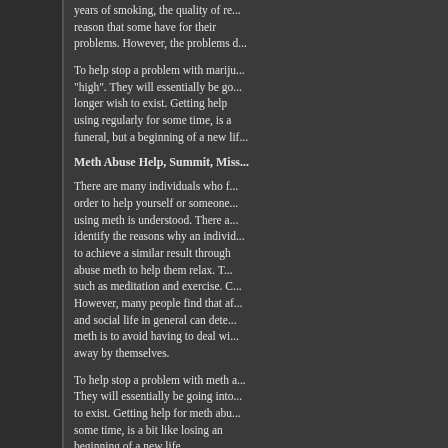years of smoking, the quality of re... reason that some have for their... problems. However, the problems d...
To help stop a problem with mariju... "high". They will essentially be go... longer wish to exist. Getting help... using regularly for some time, is a... funeral, but a beginning of a new lif...
Meth Abuse Help, Summit, Miss...
There are many individuals who f... order to help yourself or someone... using meth is understood. There a... identify the reasons why an individ... to achieve a similar result through... abuse meth to help them relax. T... such as meditation and exercise. C... However, many people find that af... and social life in general can dete... meth is to avoid having to deal wi... away by themselves.
To help stop a problem with meth a... They will essentially be going into... to exist. Getting help for meth abu... some time, is a bit like losing an... beginning of a new life.
Alcohol Abuse Help, Summit, Mis...
Alcohol abuse help is something ne... these people may not realize it or... alcohol abuse can develop into alc... period of weeks or over a period o... occasionally doesn't intend to go... process. There seems to be a line... Once an individual arose th...